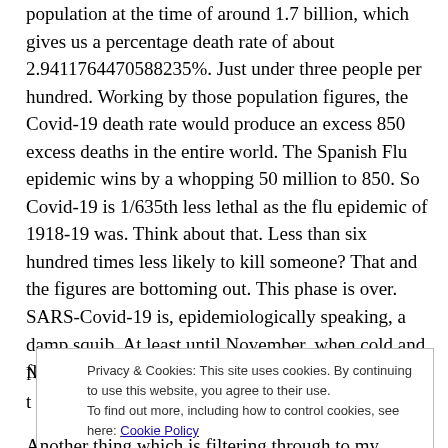population at the time of around 1.7 billion, which gives us a percentage death rate of about 2.9411764470588235%. Just under three people per hundred. Working by those population figures, the Covid-19 death rate would produce an excess 850 excess deaths in the entire world. The Spanish Flu epidemic wins by a whopping 50 million to 850. So Covid-19 is 1/635th less lethal as the flu epidemic of 1918-19 was. Think about that. Less than six hundred times less likely to kill someone? That and the figures are bottoming out. This phase is over. SARS-Covid-19 is, epidemiologically speaking, a damp squib. At least until November, when cold and flu season starts to pick up again.
Privacy & Cookies: This site uses cookies. By continuing to use this website, you agree to their use. To find out more, including how to control cookies, see here: Cookie Policy
Another thing which is filtering through to my attention is the